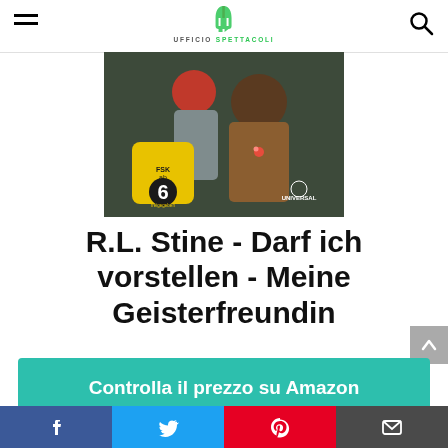Ufficio Spettacoli
[Figure (photo): Movie/DVD cover for R.L. Stine - Darf ich vorstellen - Meine Geisterfreundin. Shows two people, FSK 6 rating badge, Universal logo.]
R.L. Stine - Darf ich vorstellen - Meine Geisterfreundin
Controlla il prezzo su Amazon
Amazon.it
Facebook | Twitter | Pinterest | Email